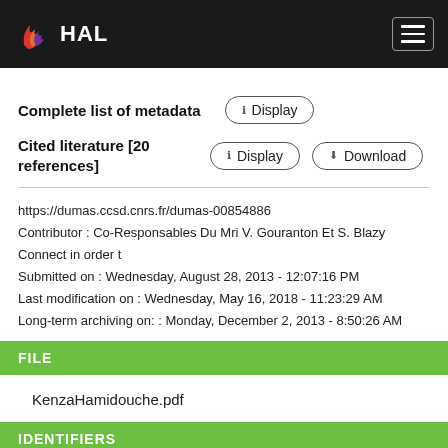HAL
Complete list of metadata
Cited literature [20 references]
https://dumas.ccsd.cnrs.fr/dumas-00854886
Contributor : Co-Responsables Du Mri V. Gouranton Et S. Blazy Connect in order t
Submitted on : Wednesday, August 28, 2013 - 12:07:16 PM
Last modification on : Wednesday, May 16, 2018 - 11:23:29 AM
Long-term archiving on: : Monday, December 2, 2013 - 8:50:26 AM
FILE
KenzaHamidouche.pdf
IDENTIFIERS